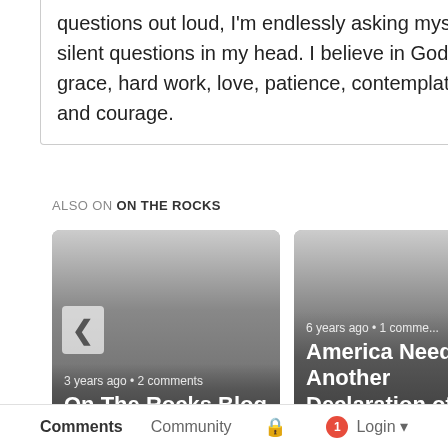questions out loud, I'm endlessly asking myself silent questions in my head. I believe in God's grace, hard work, love, patience, contemplation, and courage.
ALSO ON ON THE ROCKS
[Figure (screenshot): Blog post card: '3 years ago • 2 comments' with title 'On The Rocks Blog', left arrow navigation button visible]
[Figure (screenshot): Blog post card: '6 years ago • 1 comment' with title 'America Needs Another Declaration of ...', right arrow navigation button visible]
Comments   Community   🔒   1   Login